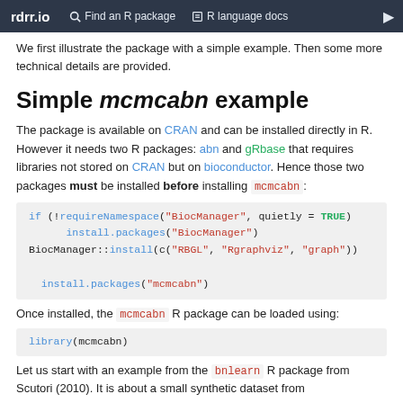rdrr.io  Find an R package  R language docs
We first illustrate the package with a simple example. Then some more technical details are provided.
Simple mcmcabn example
The package is available on CRAN and can be installed directly in R. However it needs two R packages: abn and gRbase that requires libraries not stored on CRAN but on bioconductor. Hence those two packages must be installed before installing mcmcabn:
Once installed, the mcmcabn R package can be loaded using:
Let us start with an example from the bnlearn R package from Scutori (2010). It is about a small synthetic dataset from